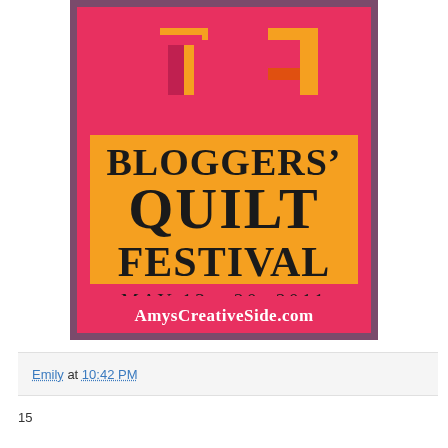[Figure (illustration): Bloggers' Quilt Festival promotional poster. Orange and pink/magenta bordered rectangle with quilt-block graphic at top and text: BLOGGERS' QUILT FESTIVAL, MAY 13 - 20, 2011, AmysCreativeSide.com]
Emily at 10:42 PM
15 comments